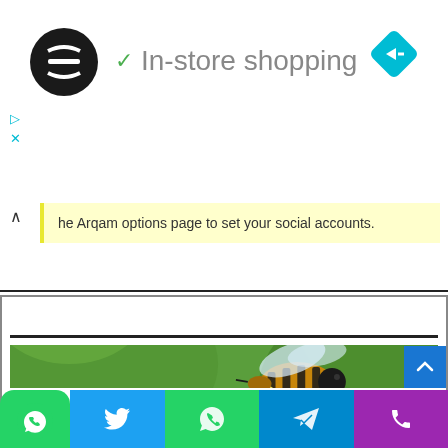In-store shopping
he Arqam options page to set your social accounts.
[Figure (photo): Close-up photo of a honey bee on white flowers with green blurred background]
Social sharing toolbar with WhatsApp, Twitter, WhatsApp, Telegram, and Phone buttons